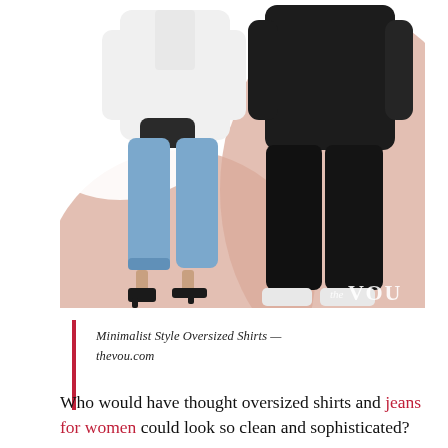[Figure (photo): Two fashion models wearing oversized shirts. Left model wears white oversized shirt with light blue jeans and black mule sandals. Right model wears all-black oversized shirt and wide-leg trousers with white shoes. Pink/rose abstract shape background. The VOU watermark at bottom right.]
Minimalist Style Oversized Shirts — thevou.com
Who would have thought oversized shirts and jeans for women could look so clean and sophisticated?